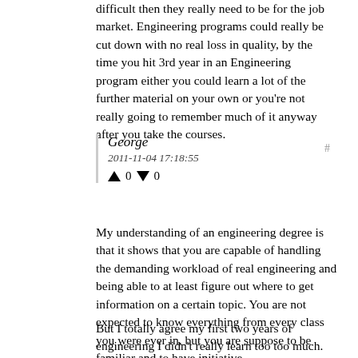difficult then they really need to be for the job market. Engineering programs could really be cut down with no real loss in quality, by the time you hit 3rd year in an Engineering program either you could learn a lot of the further material on your own or you're not really going to remember much of it anyway after you take the courses.
George
2011-11-04 17:18:55
↑ 0 ↓ 0
My understanding of an engineering degree is that it shows that you are capable of handling the demanding workload of real engineering and being able to at least figure out where to get information on a certain topic. You are not expected to know everything from every class you were ever in, but you are suppose to be familiar and to have initiative.
But I totally agree my first two years of engineering I didn't really learn too too much. Freshmen year could